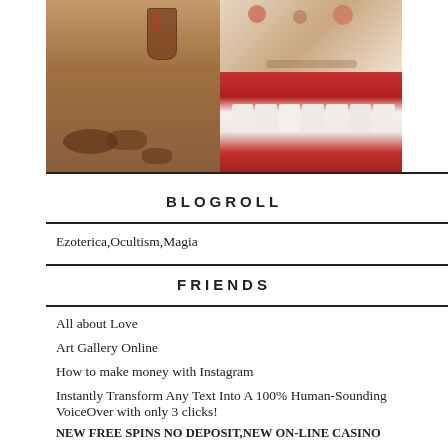[Figure (photo): Collage of four images: top-left shows walnuts and a glass with liquid, top-right shows candy or food, bottom-right shows bleeding gums and teeth close-up]
BLOGROLL
Ezoterica,Ocultism,Magia
FRIENDS
All about Love
Art Gallery Online
How to make money with Instagram
Instantly Transform Any Text Into A 100% Human-Sounding VoiceOver with only 3 clicks!
NEW FREE SPINS NO DEPOSIT,NEW ON-LINE CASINO